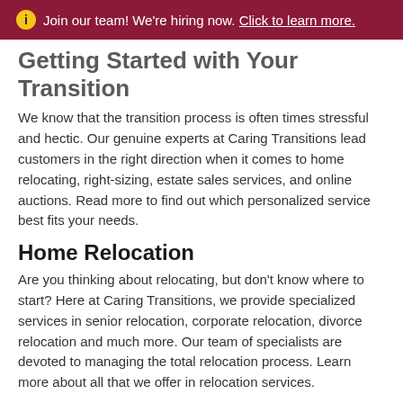ℹ Join our team! We're hiring now. Click to learn more.
Getting Started with Your Transition
We know that the transition process is often times stressful and hectic. Our genuine experts at Caring Transitions lead customers in the right direction when it comes to home relocating, right-sizing, estate sales services, and online auctions. Read more to find out which personalized service best fits your needs.
Home Relocation
Are you thinking about relocating, but don't know where to start? Here at Caring Transitions, we provide specialized services in senior relocation, corporate relocation, divorce relocation and much more. Our team of specialists are devoted to managing the total relocation process. Learn more about all that we offer in relocation services.